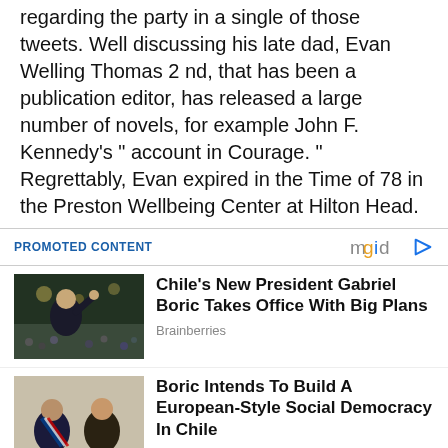regarding the party in a single of those tweets. Well discussing his late dad, Evan Welling Thomas 2 nd, that has been a publication editor, has released a large number of novels, for example John F. Kennedy's " account in Courage. " Regrettably, Evan expired in the Time of 78 in the Preston Wellbeing Center at Hilton Head.
PROMOTED CONTENT | mgid
[Figure (photo): Man in dark suit waving to crowd at night event - Gabriel Boric]
Chile's New President Gabriel Boric Takes Office With Big Plans
Brainberries
[Figure (photo): Two men in formal attire, one with sash, ceremony - Boric inauguration]
Boric Intends To Build A European-Style Social Democracy In Chile